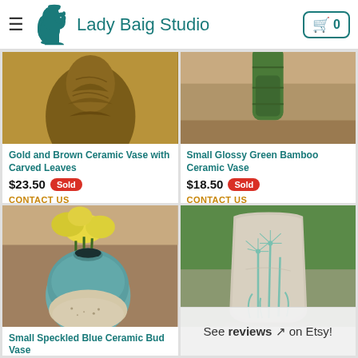Lady Baig Studio
[Figure (photo): Gold and Brown Ceramic Vase with Carved Leaves — top cropped photo]
Gold and Brown Ceramic Vase with Carved Leaves
$23.50 Sold
CONTACT US
[Figure (photo): Small Glossy Green Bamboo Ceramic Vase — top cropped photo]
Small Glossy Green Bamboo Ceramic Vase
$18.50 Sold
CONTACT US
[Figure (photo): Small Speckled Blue Ceramic Bud Vase with yellow flowers]
Small Speckled Blue Ceramic Bud Vase
[Figure (photo): White ceramic vase with carved dandelion design]
See reviews on Etsy!